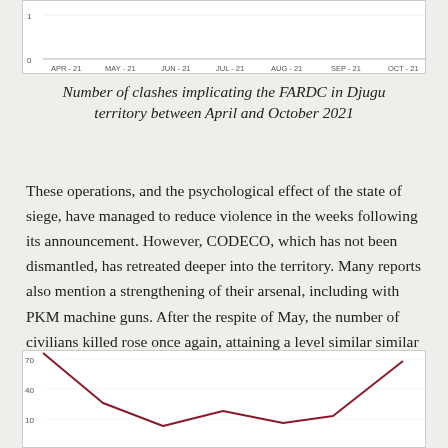[Figure (continuous-plot): Top portion of a line chart showing number of clashes implicating the FARDC in Djugu territory. X-axis shows months APR-21 through OCT-21. Y-axis shows values 0 and 1. Line is partially visible at top of crop.]
Number of clashes implicating the FARDC in Djugu territory between April and October 2021
These operations, and the psychological effect of the state of siege, have managed to reduce violence in the weeks following its announcement. However, CODECO, which has not been dismantled, has retreated deeper into the territory. Many reports also mention a strengthening of their arsenal, including with PKM machine guns. After the respite of May, the number of civilians killed rose once again, attaining a level similar similar to that of April.
[Figure (continuous-plot): Bottom portion of a line chart (cropped). Shows a dark red/maroon line with values visible. Y-axis shows values including 10, 40, 10. The line descends from upper left, curves, and rises to upper right.]